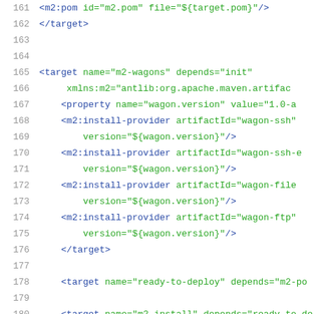[Figure (screenshot): Source code listing showing XML/Ant build file lines 161-181 with line numbers on left, XML tags in blue and attribute values in green]
161: <m2:pom id="m2.pom" file="${target.pom}"/>
162: </target>
163: 
164: 
165: <target name="m2-wagons" depends="init"
166:     xmlns:m2="antlib:org.apache.maven.artifac...
167:     <property name="wagon.version" value="1.0-a...
168:     <m2:install-provider artifactId="wagon-ssh"
169:         version="${wagon.version}"/>
170:     <m2:install-provider artifactId="wagon-ssh-e...
171:         version="${wagon.version}"/>
172:     <m2:install-provider artifactId="wagon-file...
173:         version="${wagon.version}"/>
174:     <m2:install-provider artifactId="wagon-ftp"
175:         version="${wagon.version}"/>
176: </target>
177: 
178: <target name="ready-to-deploy" depends="m2-po...
179: 
180: <target name="m2-install" depends="ready-to-de...
181:     description="install the libray into the l..."